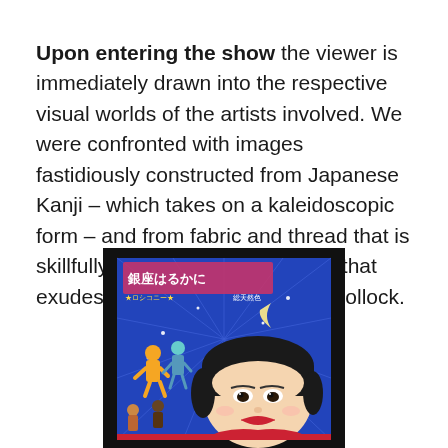Upon entering the show the viewer is immediately drawn into the respective visual worlds of the artists involved. We were confronted with images fastidiously constructed from Japanese Kanji – which takes on a kaleidoscopic form – and from fabric and thread that is skillfully woven to create a piece that exudes the power of a Jackson Pollock.
[Figure (illustration): A colorful Japanese movie poster or artwork rendered in a painting style, featuring a large close-up face of a woman with short black hair and red lips at the lower right, with smaller dancing/performing figures and Japanese Kanji text on a vivid blue background. The image is framed by a black border.]